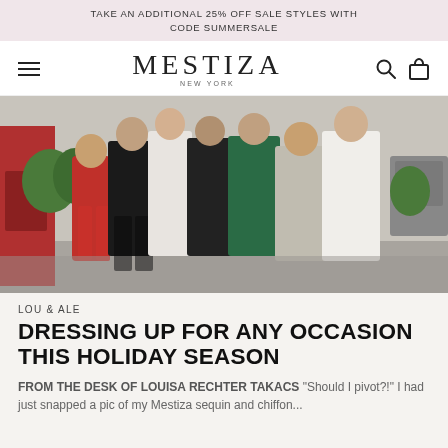TAKE AN ADDITIONAL 25% OFF SALE STYLES WITH CODE SUMMERSALE
MESTIZA NEW YORK
[Figure (photo): Group photo of five women and a young boy posing outdoors on a sidewalk. The boy wears a red velvet suit. The women wear various elegant outfits including a black satin blazer suit, a white gown, a black sequin jumpsuit, a green satin dress with cutout, a silver sequin dress, and a white slip dress. A red building entrance is visible in the background.]
LOU & ALE
DRESSING UP FOR ANY OCCASION THIS HOLIDAY SEASON
FROM THE DESK OF LOUISA RECHTER TAKACS "Should I pivot?!" I had just snapped a pic of my Mestiza sequin and chiffon...